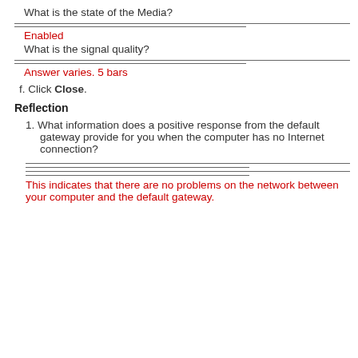What is the state of the Media?
Enabled
What is the signal quality?
Answer varies. 5 bars
f. Click Close.
Reflection
1. What information does a positive response from the default gateway provide for you when the computer has no Internet connection?
This indicates that there are no problems on the network between your computer and the default gateway.